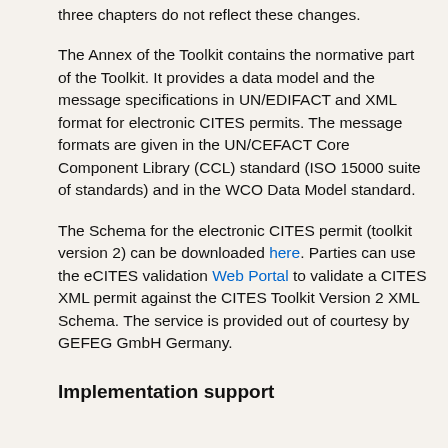three chapters do not reflect these changes.
The Annex of the Toolkit contains the normative part of the Toolkit. It provides a data model and the message specifications in UN/EDIFACT and XML format for electronic CITES permits. The message formats are given in the UN/CEFACT Core Component Library (CCL) standard (ISO 15000 suite of standards) and in the WCO Data Model standard.
The Schema for the electronic CITES permit (toolkit version 2) can be downloaded here. Parties can use the eCITES validation Web Portal to validate a CITES XML permit against the CITES Toolkit Version 2 XML Schema. The service is provided out of courtesy by GEFEG GmbH Germany.
Implementation support